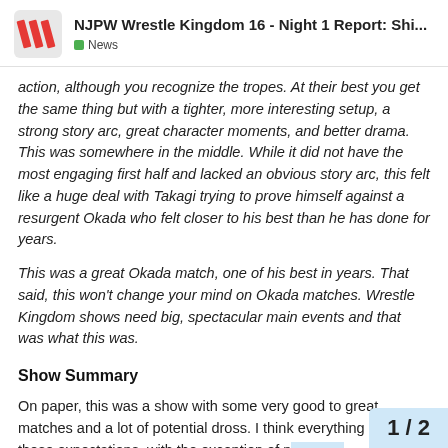NJPW Wrestle Kingdom 16 - Night 1 Report: Shi... News
action, although you recognize the tropes. At their best you get the same thing but with a tighter, more interesting setup, a strong story arc, great character moments, and better drama. This was somewhere in the middle. While it did not have the most engaging first half and lacked an obvious story arc, this felt like a huge deal with Takagi trying to prove himself against a resurgent Okada who felt closer to his best than he has done for years.
This was a great Okada match, one of his best in years. That said, this won't change your mind on Okada matches. Wrestle Kingdom shows need big, spectacular main events and that was what this was.
Show Summary
On paper, this was a show with some very good to great matches and a lot of potential dross. I think everything met those expectations, with the exception of n... The main event was well worth a watch un...
1 / 2